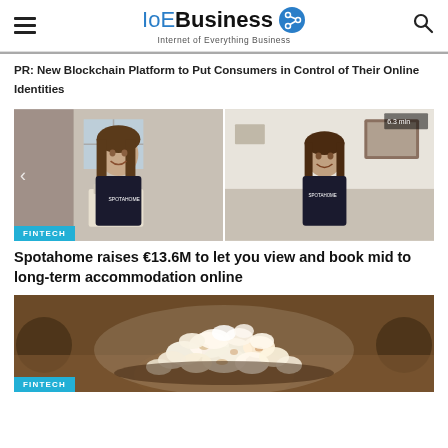IoEBusiness — Internet of Everything Business
PR: New Blockchain Platform to Put Consumers in Control of Their Online Identities
[Figure (photo): Two women wearing Spotahome t-shirts, one holding a box, photographed in home settings. Fintech badge overlay.]
Spotahome raises €13.6M to let you view and book mid to long-term accommodation online
[Figure (photo): Close-up photo of a pile of popcorn with FINTECH badge at bottom left.]